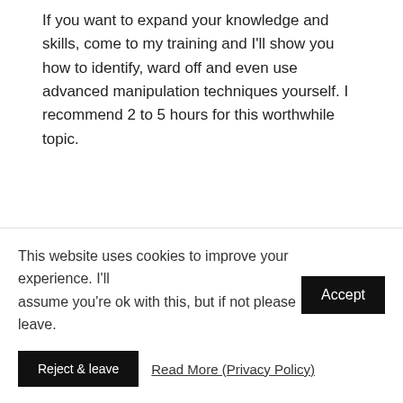If you want to expand your knowledge and skills, come to my training and I'll show you how to identify, ward off and even use advanced manipulation techniques yourself. I recommend 2 to 5 hours for this worthwhile topic.
Preparation of important conversations and negotiations
This website uses cookies to improve your experience. I'll assume you're ok with this, but if not please leave.